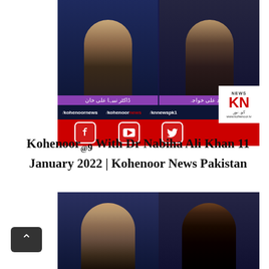[Figure (screenshot): Kohenoor News TV screenshot showing two guests (female with long hair in fur vest, male in dark jacket) with purple name bars in Urdu script. Below is a handle strip with /kohenoornews /kohenoor news /knnewspk1 and the KN News logo. A red social media bar shows Facebook, YouTube, and Twitter icons with www.kohenoor.tv.]
Kohenoor@9 With Dr Nabiha Ali Khan 11 January 2022 | Kohenoor News Pakistan
[Figure (screenshot): Second Kohenoor News TV screenshot showing a female anchor in grey dotted scarf and a male guest in dark clothing with black cap, speaking. Studio background with blue lighting.]